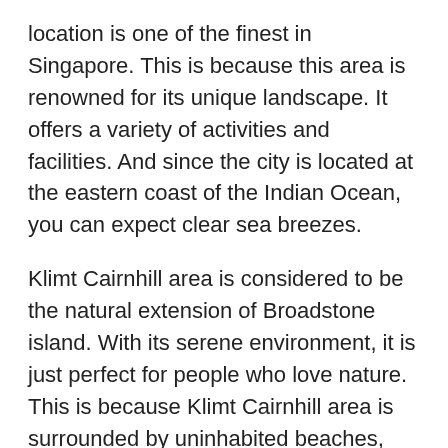location is one of the finest in Singapore. This is because this area is renowned for its unique landscape. It offers a variety of activities and facilities. And since the city is located at the eastern coast of the Indian Ocean, you can expect clear sea breezes.
Klimt Cairnhill area is considered to be the natural extension of Broadstone island. With its serene environment, it is just perfect for people who love nature. This is because Klimt Cairnhill area is surrounded by uninhabited beaches, natural forests and tropical rainforests. When it comes to amenities, Klimt Cairnhill area has many amazing offerings. This is because developers designed and developed some fantastic hotels and condos in the Klimt Cairnhill area. For starters, there are numerous amenities and services offered in Klimt Cairnhill.